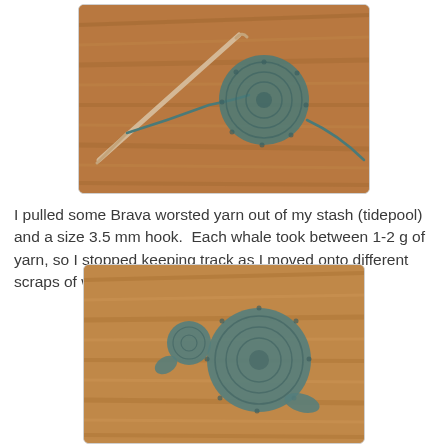[Figure (photo): Close-up photo of a crochet circle (teal/dark green yarn) in progress on a wooden surface, with a crochet hook visible and yarn trailing.]
I pulled some Brava worsted yarn out of my stash (tidepool) and a size 3.5 mm hook.  Each whale took between 1-2 g of yarn, so I stopped keeping track as I moved onto different scraps of worsted yarn that I had around.
[Figure (photo): Photo of a small completed crocheted whale shape (teal/grey yarn) on a wooden surface, showing the body circle and small head/tail details.]